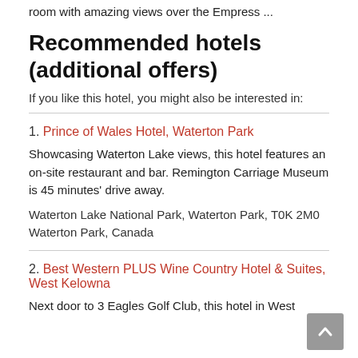room with amazing views over the Empress ...
Recommended hotels (additional offers)
If you like this hotel, you might also be interested in:
1. Prince of Wales Hotel, Waterton Park
Showcasing Waterton Lake views, this hotel features an on-site restaurant and bar. Remington Carriage Museum is 45 minutes' drive away.
Waterton Lake National Park, Waterton Park, T0K 2M0 Waterton Park, Canada
2. Best Western PLUS Wine Country Hotel & Suites, West Kelowna
Next door to 3 Eagles Golf Club, this hotel in West